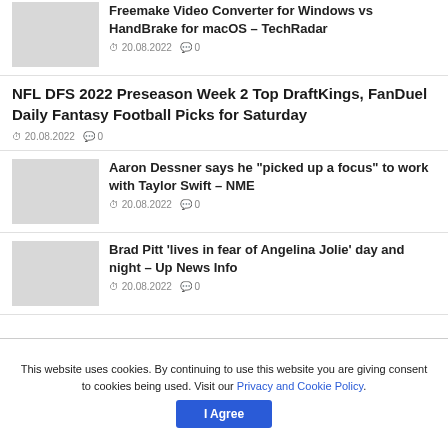Freemake Video Converter for Windows vs HandBrake for macOS – TechRadar
20.08.2022  0
NFL DFS 2022 Preseason Week 2 Top DraftKings, FanDuel Daily Fantasy Football Picks for Saturday
20.08.2022  0
Aaron Dessner says he "picked up a focus" to work with Taylor Swift – NME
20.08.2022  0
Brad Pitt 'lives in fear of Angelina Jolie' day and night – Up News Info
20.08.2022  0
This website uses cookies. By continuing to use this website you are giving consent to cookies being used. Visit our Privacy and Cookie Policy.
I Agree